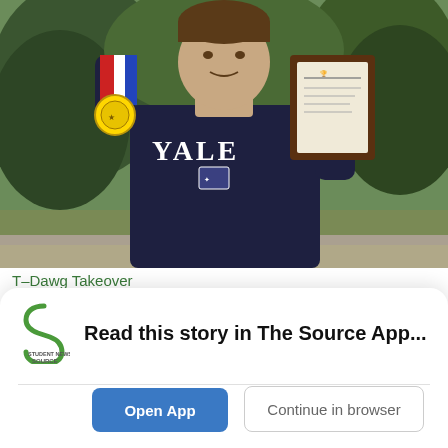[Figure (photo): Young man wearing a Yale sweatshirt holding up a gold medal with a red-white-blue ribbon in one hand and a wooden plaque/award in the other, standing outdoors in front of green trees and bushes.]
T-Dawg Takeover
Ally JohnPress, Editor-in-Chief • May 25, 2022
He texts like...
Read this story in The Source App...
Open App
Continue in browser